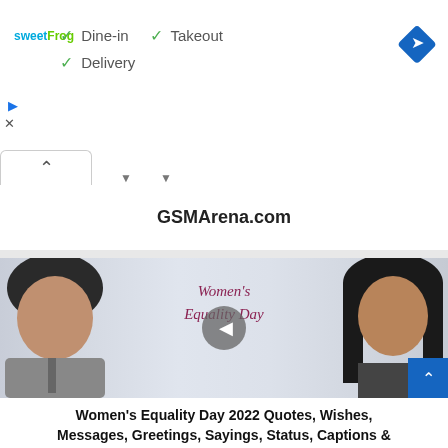[Figure (screenshot): Ad banner for sweetFrog showing Dine-in, Takeout, Delivery options with checkmarks, and a blue diamond direction icon]
GSMArena.com
[Figure (photo): Photo of a man and woman arm wrestling with Women's Equality Day text overlay and a play button in the center]
Women's Equality Day 2022 Quotes, Wishes, Messages, Greetings, Sayings, Status, Captions &